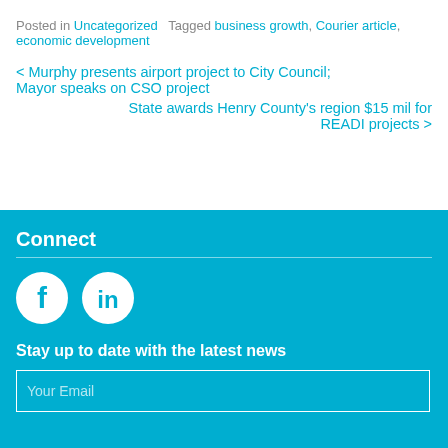Posted in Uncategorized   Tagged business growth, Courier article, economic development
< Murphy presents airport project to City Council; Mayor speaks on CSO project
State awards Henry County's region $15 mil for READI projects >
Connect
[Figure (illustration): Facebook and LinkedIn social media icon circles in white on cyan background]
Stay up to date with the latest news
Your Email